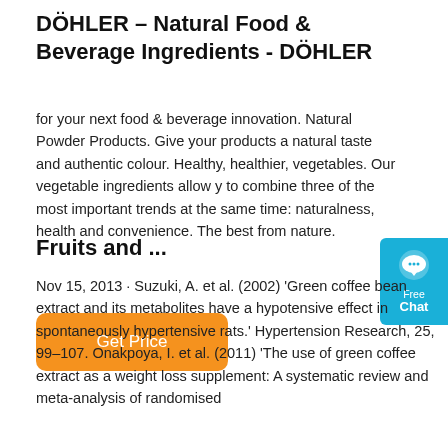DÖHLER – Natural Food & Beverage Ingredients - DÖHLER
for your next food & beverage innovation. Natural Powder Products. Give your products a natural taste and authentic colour. Healthy, healthier, vegetables. Our vegetable ingredients allow you to combine three of the most important trends at the same time: naturalness, health and convenience. The best from nature.
[Figure (other): Blue chat widget button with speech bubble icon labeled 'Free Chat']
Get Price
Fruits and ...
Nov 15, 2013 · Suzuki, A. et al. (2002) 'Green coffee bean extract and its metabolites have a hypotensive effect in spontaneously hypertensive rats.' Hypertension Research, 25, 99–107. Onakpoya, I. et al. (2011) 'The use of green coffee extract as a weight loss supplement: A systematic review and meta-analysis of randomised